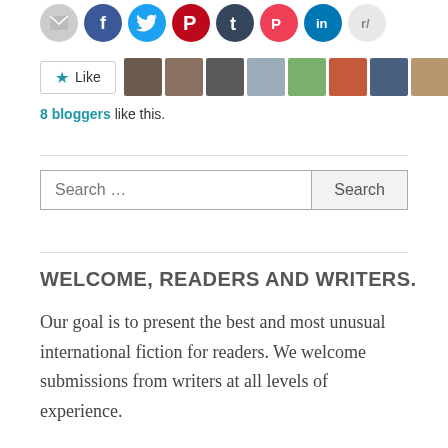[Figure (other): Social media sharing icon buttons row: email, Facebook, Twitter, Pinterest, Tumblr, Pocket, LinkedIn, Reddit]
[Figure (other): Like button with star icon followed by 8 blogger avatar thumbnails]
8 bloggers like this.
[Figure (other): Search bar with input field labeled 'Search ...' and a Search button]
WELCOME, READERS AND WRITERS.
Our goal is to present the best and most unusual international fiction for readers. We welcome submissions from writers at all levels of experience.